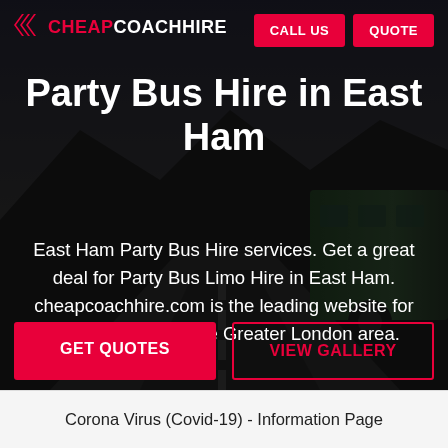[Figure (screenshot): Hero background: dark/moody photo of a mountain road with a coach bus, heavily darkened overlay]
CHEAPCOACHHIRE | CALL US | QUOTE
Party Bus Hire in East Ham
East Ham Party Bus Hire services. Get a great deal for Party Bus Limo Hire in East Ham. cheapcoachhire.com is the leading website for Party Bus Hire in the Greater London area.
GET QUOTES | VIEW GALLERY
Corona Virus (Covid-19) - Information Page